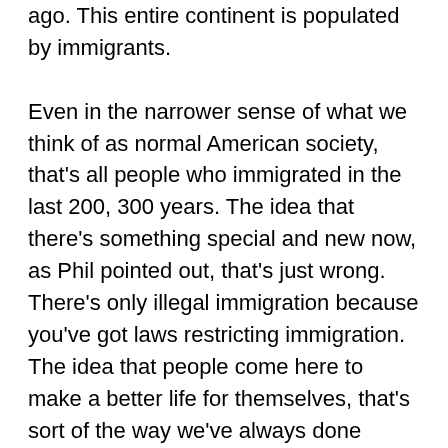ago. This entire continent is populated by immigrants. Even in the narrower sense of what we think of as normal American society, that's all people who immigrated in the last 200, 300 years. The idea that there's something special and new now, as Phil pointed out, that's just wrong. There's only illegal immigration because you've got laws restricting immigration. The idea that people come here to make a better life for themselves, that's sort of the way we've always done things. I'm not in favor of any sort of massive deportation scheme, for the same reason that I'm not in favor of many restrictions of immigration in the first place. That said, there's good news and bad news.